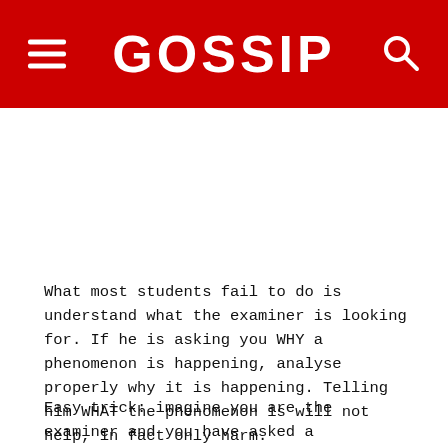GOSSIP
What most students fail to do is understand what the examiner is looking for. If he is asking you WHY a phenomenon is happening, analyse properly why it is happening. Telling him WHAT the phenomenon is will not help, in fact only harm.
Easy trick: imagine you are the examiner and you have asked a particular question for 6 marks. Would you simply be looking for a 5...